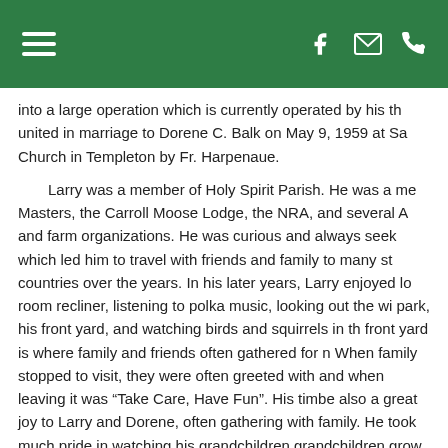Navigation header with hamburger menu and icons for Facebook, email, and phone
into a large operation which is currently operated by his th united in marriage to Dorene C. Balk on May 9, 1959 at Sa Church in Templeton by Fr. Harpenaue.
Larry was a member of Holy Spirit Parish. He was a me Masters, the Carroll Moose Lodge, the NRA, and several A and farm organizations. He was curious and always seek which led him to travel with friends and family to many st countries over the years. In his later years, Larry enjoyed lo room recliner, listening to polka music, looking out the wi park, his front yard, and watching birds and squirrels in th front yard is where family and friends often gathered for n When family stopped to visit, they were often greeted with and when leaving it was “Take Care, Have Fun”. His timbe also a great joy to Larry and Dorene, often gathering with family. He took much pride in watching his grandchildren grandchildren grow up throughout the years.